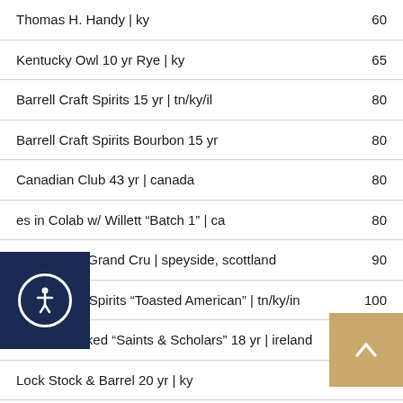Thomas H. Handy | ky    60
Kentucky Owl 10 yr Rye | ky    65
Barrell Craft Spirits 15 yr | tn/ky/il    80
Barrell Craft Spirits Bourbon 15 yr    80
Canadian Club 43 yr | canada    80
es in Colab w/ Willett "Batch 1" | ca    80
Glenfiddich Grand Cru | speyside, scottland    90
Barrel Craft Spirits "Toasted American" | tn/ky/in    100
High N' Wicked "Saints & Scholars" 18 yr | ireland    100
Lock Stock & Barrel 20 yr | ky    100